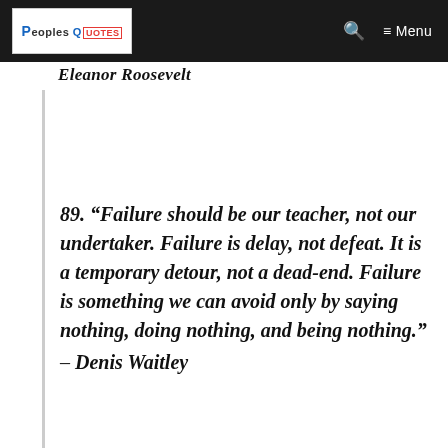PeoplesQuotes — Menu
Eleanor Roosevelt
89. “Failure should be our teacher, not our undertaker. Failure is delay, not defeat. It is a temporary detour, not a dead-end. Failure is something we can avoid only by saying nothing, doing nothing, and being nothing.” – Denis Waitley